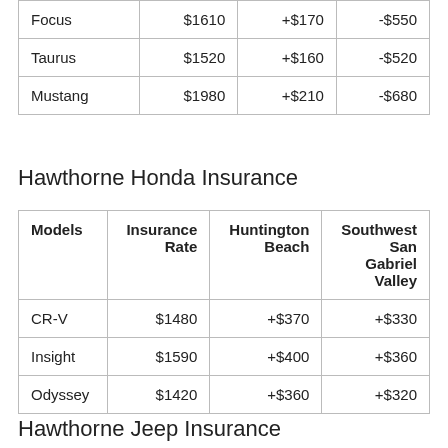| Models | Insurance Rate | Huntington Beach | Southwest San Gabriel Valley |
| --- | --- | --- | --- |
| Focus | $1610 | +$170 | -$550 |
| Taurus | $1520 | +$160 | -$520 |
| Mustang | $1980 | +$210 | -$680 |
Hawthorne Honda Insurance
| Models | Insurance Rate | Huntington Beach | Southwest San Gabriel Valley |
| --- | --- | --- | --- |
| CR-V | $1480 | +$370 | +$330 |
| Insight | $1590 | +$400 | +$360 |
| Odyssey | $1420 | +$360 | +$320 |
Hawthorne Jeep Insurance